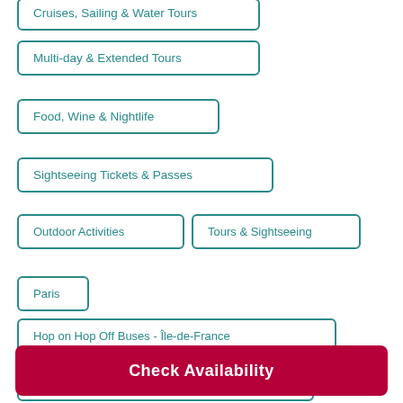Cruises, Sailing & Water Tours
Multi-day & Extended Tours
Food, Wine & Nightlife
Sightseeing Tickets & Passes
Outdoor Activities
Tours & Sightseeing
Paris
Hop on Hop Off Buses - Île-de-France
Skip the line Tickets - Île-de-France
Check Availability